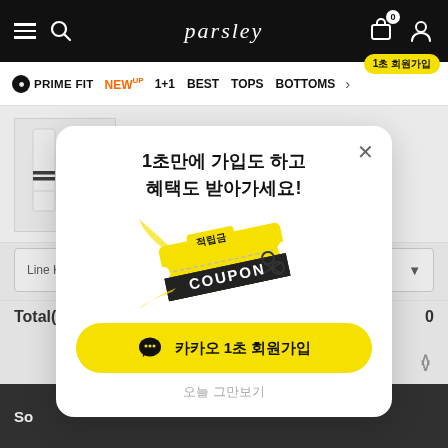parsley (navigation bar with PRIME FIT, NEW UP, 1+1, BEST, TOPS, BOTTOMS)
Line Knee Socks
$0
Line Knee S
Total(Qty)
0
[Figure (screenshot): Modal popup with Korean text: 1초만에 가입도 하고 혜택도 받아가세요! with coupon illustration and yellow KakaoTalk 1초 회원가입 button]
1초만에 가입도 하고
혜택도 받아가세요!
카카오 1초 회원가입
오늘 그만보기